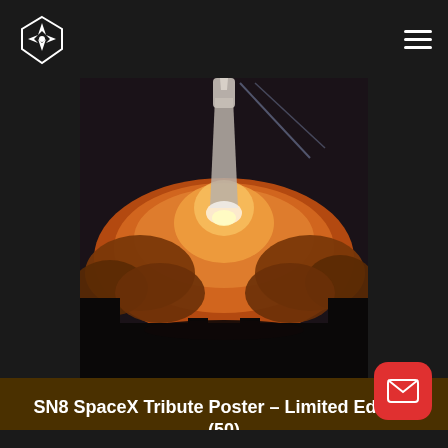Navigation header with logo and hamburger menu
[Figure (photo): SpaceX SN8 Starship rocket launch with large orange explosion cloud and smoke, captured in dramatic low-angle shot against dark background]
SN8 SpaceX Tribute Poster – Limited Edition (50)
$49.99
Select options